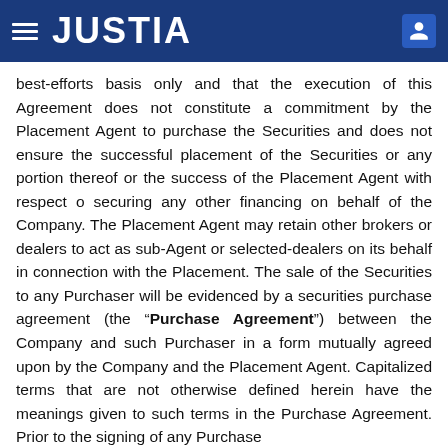JUSTIA
best-efforts basis only and that the execution of this Agreement does not constitute a commitment by the Placement Agent to purchase the Securities and does not ensure the successful placement of the Securities or any portion thereof or the success of the Placement Agent with respect o securing any other financing on behalf of the Company. The Placement Agent may retain other brokers or dealers to act as sub-Agent or selected-dealers on its behalf in connection with the Placement. The sale of the Securities to any Purchaser will be evidenced by a securities purchase agreement (the “Purchase Agreement”) between the Company and such Purchaser in a form mutually agreed upon by the Company and the Placement Agent. Capitalized terms that are not otherwise defined herein have the meanings given to such terms in the Purchase Agreement. Prior to the signing of any Purchase